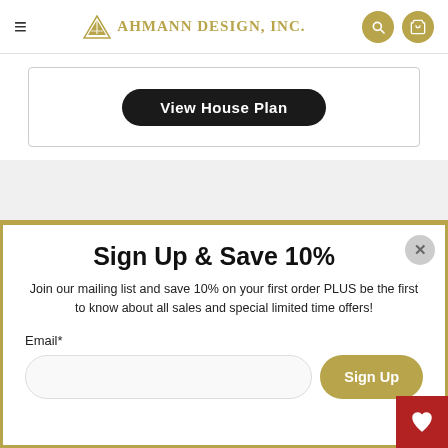Ahmann Design, Inc.
[Figure (screenshot): View House Plan button inside a bordered card area]
Sign Up & Save 10%
Join our mailing list and save 10% on your first order PLUS be the first to know about all sales and special limited time offers!
Email*
Sign Up